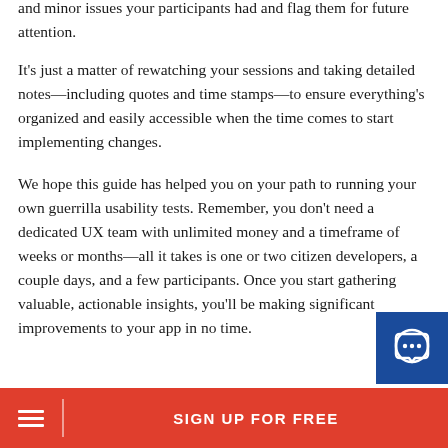and minor issues your participants had and flag them for future attention.
It's just a matter of rewatching your sessions and taking detailed notes—including quotes and time stamps—to ensure everything's organized and easily accessible when the time comes to start implementing changes.
We hope this guide has helped you on your path to running your own guerrilla usability tests. Remember, you don't need a dedicated UX team with unlimited money and a timeframe of weeks or months—all it takes is one or two citizen developers, a couple days, and a few participants. Once you start gathering valuable, actionable insights, you'll be making significant improvements to your app in no time.
SIGN UP FOR FREE